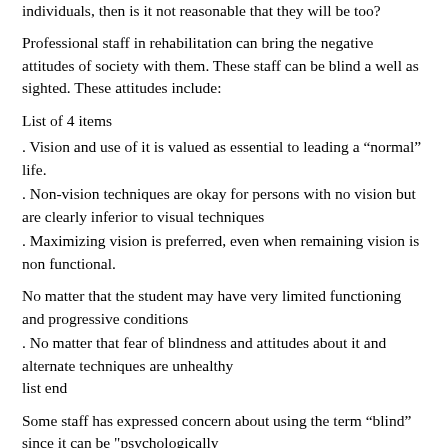individuals, then is it not reasonable that they will be too?
Professional staff in rehabilitation can bring the negative attitudes of society with them. These staff can be blind a well as sighted. These attitudes include:
List of 4 items
. Vision and use of it is valued as essential to leading a “normal” life.
. Non-vision techniques are okay for persons with no vision but are clearly inferior to visual techniques
. Maximizing vision is preferred, even when remaining vision is non functional.
No matter that the student may have very limited functioning
and progressive conditions
. No matter that fear of blindness and attitudes about it and alternate techniques are unhealthy
list end
Some staff has expressed concern about using the term “blind” since it can be "psychologically